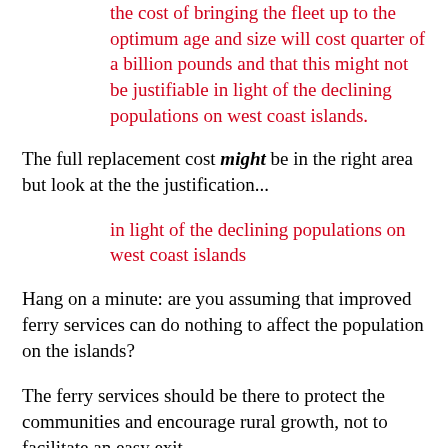the cost of bringing the fleet up to the optimum age and size will cost quarter of a billion pounds and that this might not be justifiable in light of the declining populations on west coast islands.
The full replacement cost might be in the right area but look at the the justification...
in light of the declining populations on west coast islands
Hang on a minute: are you assuming that improved ferry services can do nothing to affect the population on the islands?
The ferry services should be there to protect the communities and encourage rural growth, not to facilitate an easy exit.
I remember this point being made a multitude of times in the Council chamber, with everyone demanding that the focus be on the communities that are being served. All of which explains why the ferries are berthed in Stornoway, Berneray